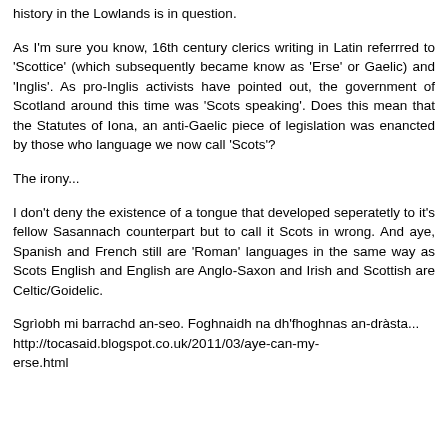history in the Lowlands is in question.
As I'm sure you know, 16th century clerics writing in Latin referrred to 'Scottice' (which subsequently became know as 'Erse' or Gaelic) and 'Inglis'. As pro-Inglis activists have pointed out, the government of Scotland around this time was 'Scots speaking'. Does this mean that the Statutes of Iona, an anti-Gaelic piece of legislation was enancted by those who language we now call 'Scots'?
The irony...
I don't deny the existence of a tongue that developed seperatetly to it's fellow Sasannach counterpart but to call it Scots in wrong. And aye, Spanish and French still are 'Roman' languages in the same way as Scots English and English are Anglo-Saxon and Irish and Scottish are Celtic/Goidelic.
Sgrìobh mi barrachd an-seo. Foghnaidh na dh'fhoghnas an-dràsta...
http://tocasaid.blogspot.co.uk/2011/03/aye-can-my-erse.html